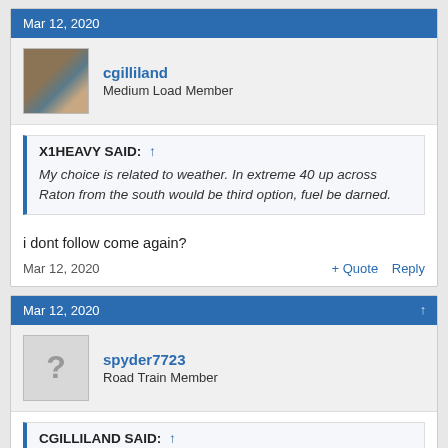Mar 12, 2020
cgilliland
Medium Load Member
X1HEAVY SAID: ↑
My choice is related to weather. In extreme 40 up across Raton from the south would be third option, fuel be darned.
i dont follow come again?
Mar 12, 2020
+ Quote   Reply
Mar 12, 2020
spyder7723
Road Train Member
CGILLILAND SAID: ↑